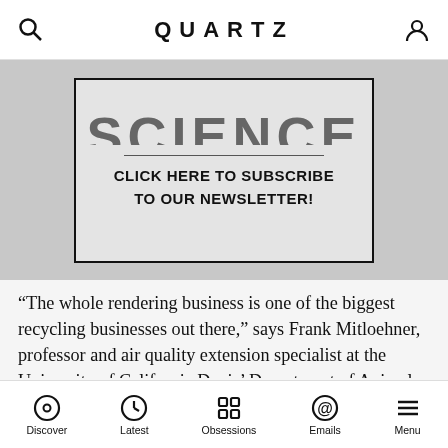QUARTZ
[Figure (other): Subscription banner with partially clipped 'SCIENCE' heading, a horizontal divider, and bold text: CLICK HERE TO SUBSCRIBE TO OUR NEWSLETTER!]
“The whole rendering business is one of the biggest recycling businesses out there,” says Frank Mitloehner, professor and air quality extension specialist at the University of California Davis’ Department of Animal Science. Without rendering plants, he says, there would be huge biosafety and biosecurity issues because it’s the only way to dispose of livestock. “Not to use [the
Discover | Latest | Obsessions | Emails | Menu